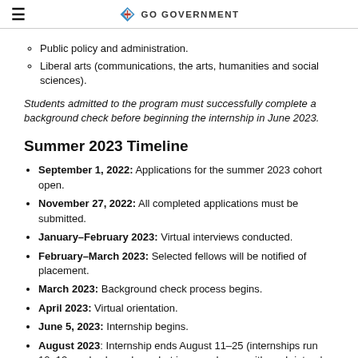GO GOVERNMENT
Public policy and administration.
Liberal arts (communications, the arts, humanities and social sciences).
Students admitted to the program must successfully complete a background check before beginning the internship in June 2023.
Summer 2023 Timeline
September 1, 2022: Applications for the summer 2023 cohort open.
November 27, 2022: All completed applications must be submitted.
January–February 2023: Virtual interviews conducted.
February–March 2023: Selected fellows will be notified of placement.
March 2023: Background check process begins.
April 2023: Virtual orientation.
June 5, 2023: Internship begins.
August 2023: Internship ends August 11–25 (internships run 10–12 weeks, based on what is agreed upon with each intern's host office and supervisor).